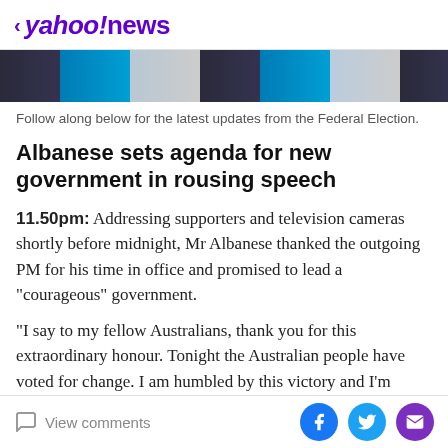< yahoo!news
[Figure (photo): Cropped image strip showing partial faces and figures at an election event, dark and blue tones]
Follow along below for the latest updates from the Federal Election.
Albanese sets agenda for new government in rousing speech
11.50pm: Addressing supporters and television cameras shortly before midnight, Mr Albanese thanked the outgoing PM for his time in office and promised to lead a "courageous" government.
"I say to my fellow Australians, thank you for this extraordinary honour. Tonight the Australian people have voted for change. I am humbled by this victory and I'm honoured to be given the opportunity to serve as the
View comments